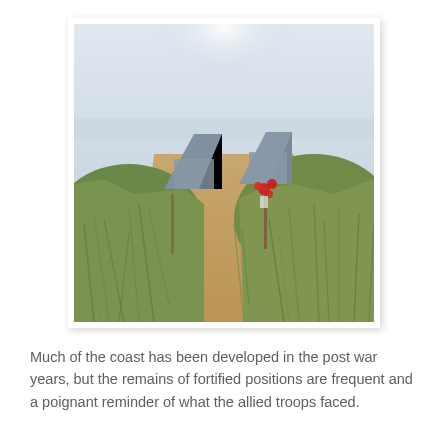[Figure (photo): Photograph of sand dunes with tall beach grass on either side of a sandy path, with two triangular/wedge-shaped concrete WWII bunker structures visible behind the dunes in the background, and red poppies tied to a post among the grasses. Overcast sky above.]
Much of the coast has been developed in the post war years, but the remains of fortified positions are frequent and a poignant reminder of what the allied troops faced.